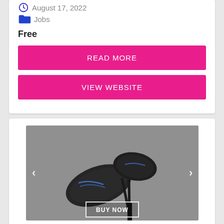August 17, 2022
Jobs
Free
READ MORE
VIEW WEBSITE
[Figure (photo): Two black golf wedge clubs crossed against a gray background, with a 'BUY NOW' button overlay at the bottom center.]